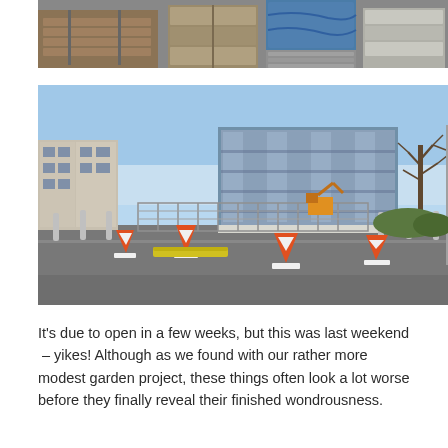[Figure (photo): Partial top photo showing construction materials including stacked crates, blue tarpaulin, and building supplies on ground.]
[Figure (photo): A construction site scene with orange traffic cones, metal security fencing, bollards, and a large modern glass building in the background under a clear blue sky, with a bare tree on the right.]
It's due to open in a few weeks, but this was last weekend  – yikes! Although as we found with our rather more modest garden project, these things often look a lot worse before they finally reveal their finished wondrousness.